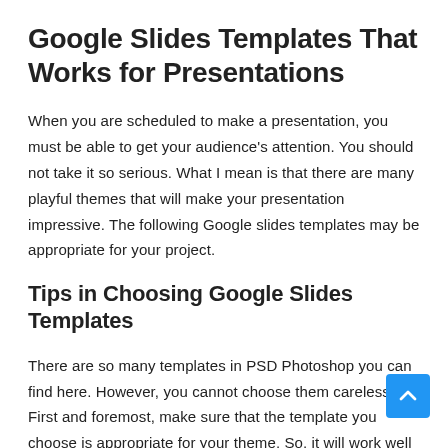Google Slides Templates That Works for Presentations
When you are scheduled to make a presentation, you must be able to get your audience’s attention. You should not take it so serious. What I mean is that there are many playful themes that will make your presentation impressive. The following Google slides templates may be appropriate for your project.
Tips in Choosing Google Slides Templates
There are so many templates in PSD Photoshop you can find here. However, you cannot choose them carelessly. First and foremost, make sure that the template you choose is appropriate for your theme. So, it will work well